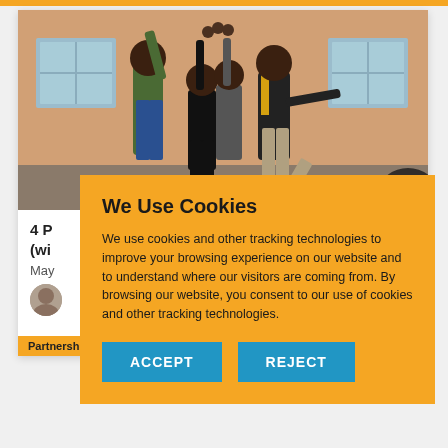[Figure (photo): Group of people celebrating outdoors, raising hands together in front of a building]
4 P (wi
May
[Figure (photo): Small avatar/portrait photo]
We Use Cookies
We use cookies and other tracking technologies to improve your browsing experience on our website and to understand where our visitors are coming from. By browsing our website, you consent to our use of cookies and other tracking technologies.
ACCEPT
REJECT
Partnerships
Membership